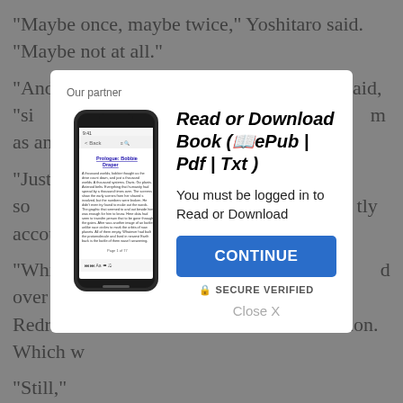“Maybe once, maybe twice,” Yoshitaro said. “Maybe not at all.”

“And the… han said, “si… m as an ally.”

“Just so… tly account…

“Which… d over Redruth… ation. Which w…

“Still,” F… ories on our s…

“That m… d, it raises a… ans. Assuming that your Confederation is as large and powerful as we Musth believed it to be, does not that mean the Confederation’s woes must be rather greater than anyone
[Figure (screenshot): Modal dialog overlay on a grey background showing a partner advertisement to read or download a book]
Our partner
Read or Download Book (📖ePub | Pdf | Txt )
You must be logged in to Read or Download
CONTINUE
🔒 SECURE VERIFIED
Close X